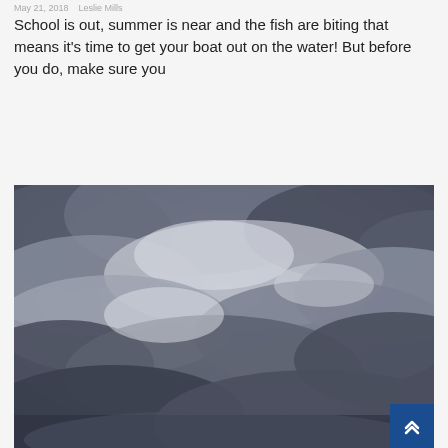May 21, 2018  Leslie Mills
School is out, summer is near and the fish are biting that means it's time to get your boat out on the water! But before you do, make sure you
READ MORE
[Figure (photo): Dark stormy cloudy sky, black and white tones, dramatic overcast weather]